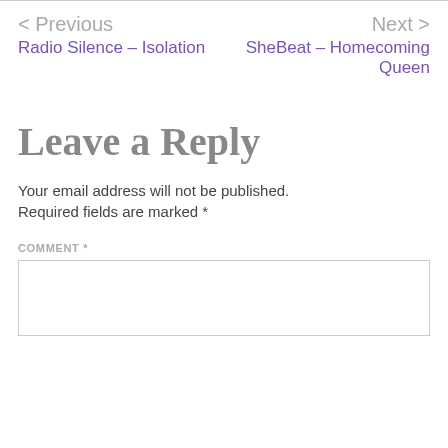< Previous
Radio Silence – Isolation
Next >
SheBeat – Homecoming Queen
Leave a Reply
Your email address will not be published. Required fields are marked *
COMMENT *